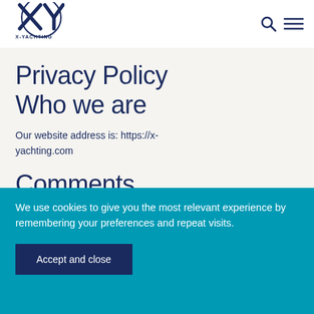[Figure (logo): X-Yachting logo — stylized XY letters in dark navy blue with 'X-YACHTING' text below]
Privacy Policy
Who we are
Our website address is: https://x-yachting.com
Comments
We use cookies to give you the most relevant experience by remembering your preferences and repeat visits.